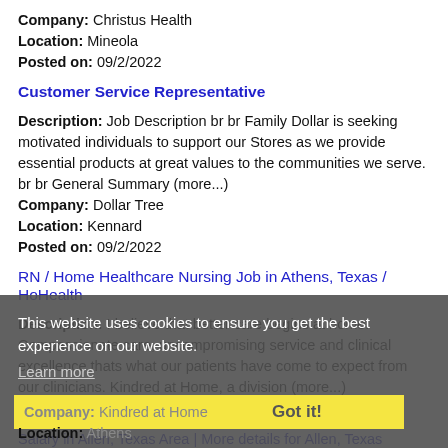Company: Christus Health
Location: Mineola
Posted on: 09/2/2022
Customer Service Representative
Description: Job Description br br Family Dollar is seeking motivated individuals to support our Stores as we provide essential products at great values to the communities we serve. br br General Summary (more...)
Company: Dollar Tree
Location: Kennard
Posted on: 09/2/2022
RN / Home Healthcare Nursing Job in Athens, Texas / HoHealth
Description: I believe that better care begins at home. Compassionate care, uncompromising service and clinical excellence thats what our patients have come to expect from our clinicians. Kindred at Home, a division (more...)
This website uses cookies to ensure you get the best experience on our website.
Learn more
Company: Kindred at Home
Got it!
Location: Athens
Posted on: 09/2/2022
Salary in Allen, Texas Area | More details for Allen, Texas